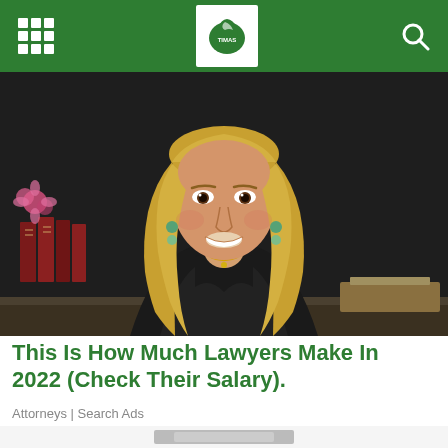Navigation bar with grid menu, logo, and search icon
[Figure (photo): Professional portrait of a smiling blonde woman wearing a black judge's robe, seated at a desk with law books and pink flowers in the background]
This Is How Much Lawyers Make In 2022 (Check Their Salary).
Attorneys | Search Ads
[Figure (photo): Partially visible image at the bottom of the page, cropped]